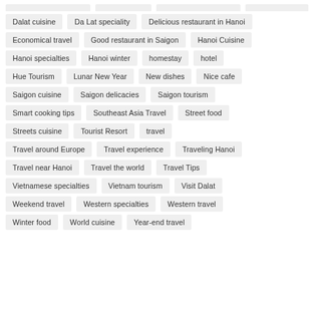Dalat cuisine
Da Lat speciality
Delicious restaurant in Hanoi
Economical travel
Good restaurant in Saigon
Hanoi Cuisine
Hanoi specialties
Hanoi winter
homestay
hotel
Hue Tourism
Lunar New Year
New dishes
Nice cafe
Saigon cuisine
Saigon delicacies
Saigon tourism
Smart cooking tips
Southeast Asia Travel
Street food
Streets cuisine
Tourist Resort
travel
Travel around Europe
Travel experience
Traveling Hanoi
Travel near Hanoi
Travel the world
Travel Tips
Vietnamese specialties
Vietnam tourism
Visit Dalat
Weekend travel
Western specialties
Western travel
Winter food
World cuisine
Year-end travel